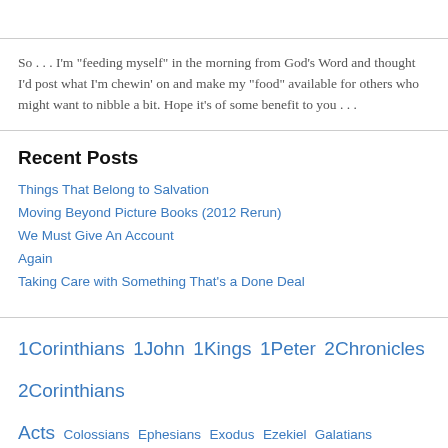So . . . I'm "feeding myself" in the morning from God's Word and thought I'd post what I'm chewin' on and make my "food" available for others who might want to nibble a bit. Hope it's of some benefit to you . . .
Recent Posts
Things That Belong to Salvation
Moving Beyond Picture Books (2012 Rerun)
We Must Give An Account
Again
Taking Care with Something That's a Done Deal
1Corinthians  1John  1Kings  1Peter  2Chronicles  2Corinthians  Acts  Colossians  Ephesians  Exodus  Ezekiel  Galatians  Genesis